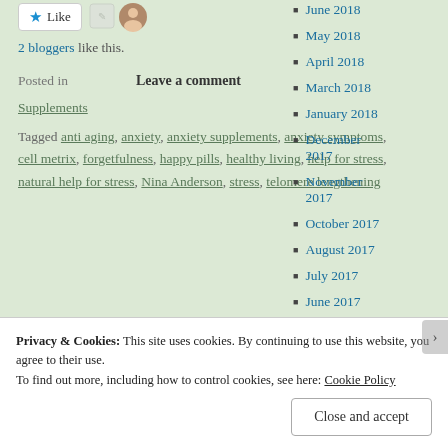Like | 2 bloggers like this.
Posted in   Leave a comment
Supplements
Tagged anti aging, anxiety, anxiety supplements, anxiety symptoms, cell metrix, forgetfulness, happy pills, healthy living, help for stress, natural help for stress, Nina Anderson, stress, telomere lengthening
June 2018
May 2018
April 2018
March 2018
January 2018
December 2017
November 2017
October 2017
August 2017
July 2017
June 2017
Privacy & Cookies: This site uses cookies. By continuing to use this website, you agree to their use.
To find out more, including how to control cookies, see here: Cookie Policy
Close and accept